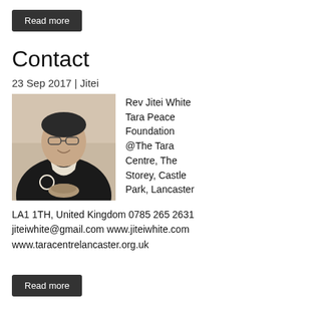Read more
Contact
23 Sep 2017 | Jitei
[Figure (photo): Black and white photo of Rev Jitei White, a man in a dark Japanese robe with a white collar, wearing glasses, smiling and holding a small bowl.]
Rev Jitei White Tara Peace Foundation @The Tara Centre, The Storey, Castle Park, Lancaster LA1 1TH, United Kingdom 0785 265 2631 jiteiwhite@gmail.com www.jiteiwhite.com www.taracentrelancaster.org.uk
Read more